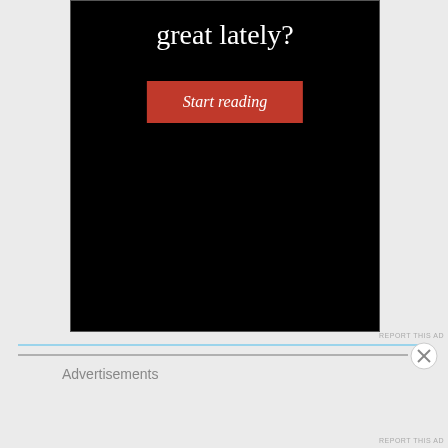[Figure (screenshot): Advertisement banner with black background showing text 'great lately?' and a red 'Start reading' button]
REPORT THIS AD
Advertisements
REPORT THIS AD